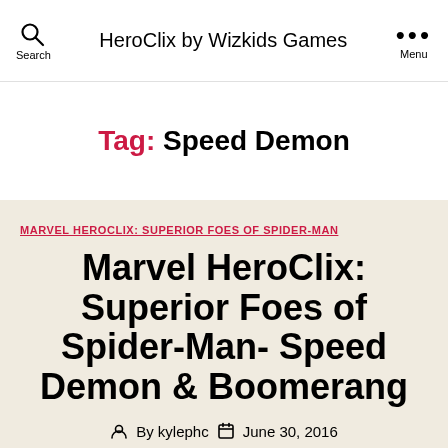HeroClix by Wizkids Games
Tag: Speed Demon
MARVEL HEROCLIX: SUPERIOR FOES OF SPIDER-MAN
Marvel HeroClix: Superior Foes of Spider-Man- Speed Demon & Boomerang
By kylephc  June 30, 2016